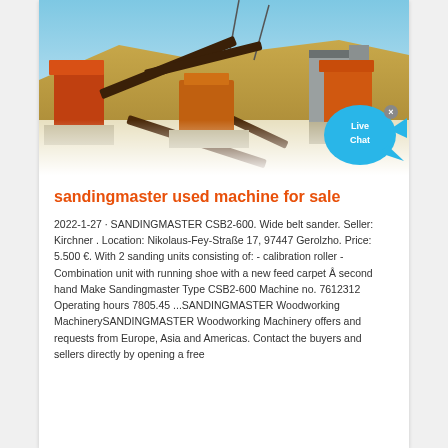[Figure (photo): Outdoor industrial mining/crushing plant with conveyor belts and orange machinery against sandy hills and blue sky background]
sandingmaster used machine for sale
2022-1-27 · SANDINGMASTER CSB2-600. Wide belt sander. Seller: Kirchner . Location: Nikolaus-Fey-Straße 17, 97447 Gerolzho. Price: 5.500 €. With 2 sanding units consisting of: - calibration roller - Combination unit with running shoe with a new feed carpet Â second hand Make Sandingmaster Type CSB2-600 Machine no. 7612312 Operating hours 7805.45 ...SANDINGMASTER Woodworking MachinerySANDINGMASTER Woodworking Machinery offers and requests from Europe, Asia and Americas. Contact the buyers and sellers directly by opening a free